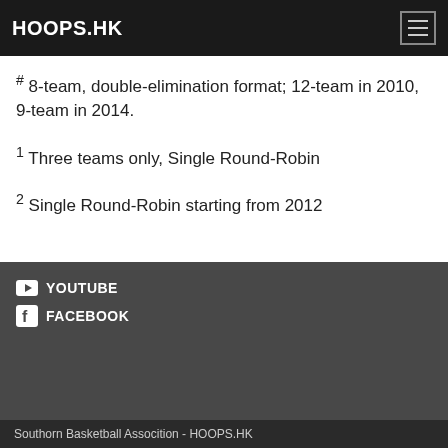HOOPS.HK
# 8-team, double-elimination format; 12-team in 2010, 9-team in 2014.
1 Three teams only, Single Round-Robin
2 Single Round-Robin starting from 2012
YOUTUBE
FACEBOOK
Southorn Basketball Assocition - HOOPS.HK